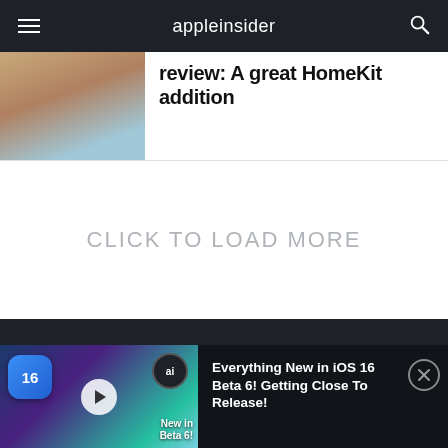appleinsider
review: A great HomeKit addition
CLICK TO LOAD MORE
[Figure (screenshot): Video thumbnail for 'Everything New in iOS 16 Beta 6! Getting Close To Release!' showing iOS 16 logo badge, a phone, and a smart home device]
Everything New in iOS 16 Beta 6! Getting Close To Release!